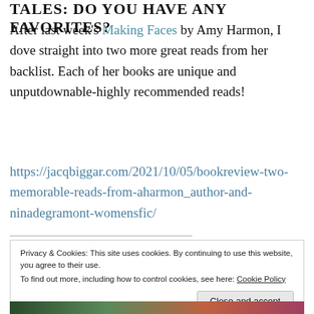TALES: DO YOU HAVE ANY FAVORITES?
After last week's Making Faces by Amy Harmon, I dove straight into two more great reads from her backlist. Each of her books are unique and unputdownable-highly recommended reads!
https://jacqbiggar.com/2021/10/05/bookreview-two-memorable-reads-from-aharmon_author-and-ninadegramont-womensfic/
Privacy & Cookies: This site uses cookies. By continuing to use this website, you agree to their use.
To find out more, including how to control cookies, see here: Cookie Policy
Close and accept
[Figure (photo): Partial image strip at bottom of page showing book covers or colorful imagery]